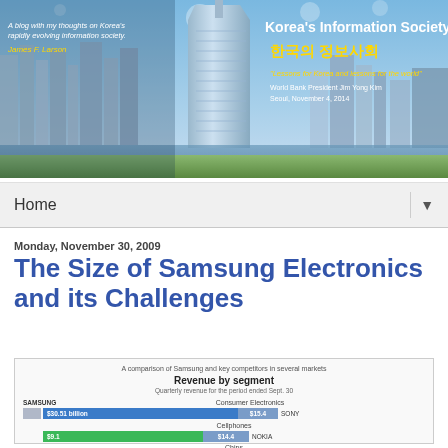[Figure (photo): Blog header banner showing Korea's Information Society blog with Seoul skyline, tall skyscraper (COEX/IFC tower), and text overlay]
Home
Monday, November 30, 2009
The Size of Samsung Electronics and its Challenges
[Figure (infographic): Revenue by segment infographic comparing Samsung and key competitors. Consumer Electronics: Samsung $30.51 billion vs Sony $15.4. Cellphones: Samsung $9.1 vs Nokia $14.4. Chips section partially visible.]